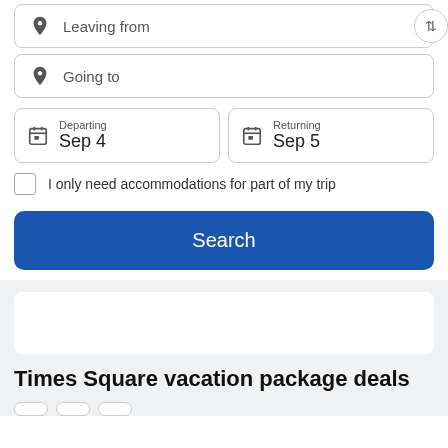Leaving from
Going to
Departing Sep 4
Returning Sep 5
I only need accommodations for part of my trip
Search
Times Square vacation package deals